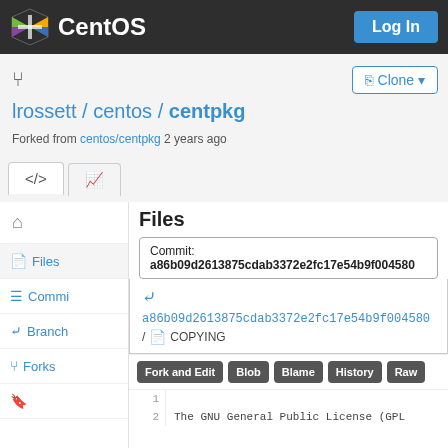CentOS  Log In
lrossett / centos / centpkg
Forked from centos/centpkg 2 years ago
Files
Commit: a86b09d2613875cdab3372e2fc17e54b9f004580
a86b09d2613875cdab3372e2fc17e54b9f004580 / COPYING
Fork and Edit  Blob  Blame  History  Raw
1
2  The GNU General Public License (GPL